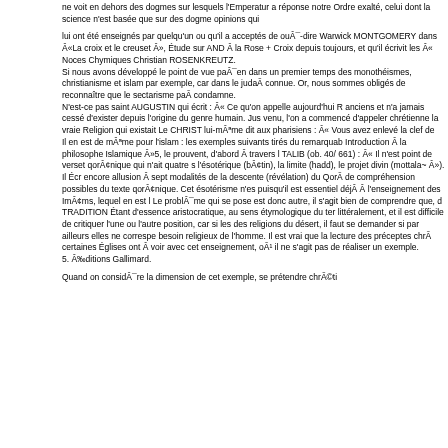ne voit en dehors des dogmes sur lesquels l'Emperatur a réponse notre Ordre exalté, celui dont la science n'est basée que sur des dogmes opinions qui
lui ont été enseignés par quelqu'un ou qu'il a acceptés de ouÂ¯-dire Warwick MONTGOMERY dans «La croix et le creuset», étude sur AND Â  la Rose + Croix depuis toujours, et qu'il écrivit les « Noces Chymiques Christian ROSENKREUTZ.
Si nous avons développé le point de vue paÂ¯en dans un premier temps des monothéismes, christianisme et islam par exemple, car dans le judaÃ connue. Or, nous sommes obligés de reconnaître que le sectarisme paÃ condamne.
N'est-ce pas saint AUGUSTIN qui écrit : « Ce qu'on appelle aujourd'hui R anciens et n'a jamais cessé d'exister depuis l'origine du genre humain. Jus venu, l'on a commencé d'appeler chrétienne la vraie Religion qui existait Le CHRIST lui-même dit aux pharisiens : « Vous avez enlevé la clef de
Il en est de même pour l'islam : les exemples suivants tirés du remarquab Introduction Â  la philosophe Islamique »5, le prouvent, d'abord Â  travers l TALIB (ob. 40/ 661) : « Il n'est point de verset qoÂ¢nique qui n'ait quatre s l'ésotérique (bÂ¢tin), la limite (hadd), le projet divin (mottala~ »). Il écr encore allusion Â  sept modalités de la descente (révélation) du QorÃ de compréhension possibles du texte qoÂ¢nique. Cet ésotérisme n'es puisqu'il est essentiel déjÂ  Â  l'enseignement des ImÂ¢ms, lequel en est l Le problÂ¯me qui se pose est donc autre, il s'agit bien de comprendre que, d TRADITION étant d'essence aristocratique, au sens étymologique du ter littéralement, et il est difficile de critiquer l'une ou l'autre position, car si les des religions du désert, il faut se demander si par ailleurs elles ne correspe besoin religieux de l'homme. Il est vrai que la lecture des préceptes chrÃ certaines églises ont Â  voir avec cet enseignement, oÃ¹ il ne s'agit pas de réaliser un exemple.
5. Éditions Gallimard.
Quand on considÂ¯re la dimension de cet exemple, se prétendre chrÃ©ti